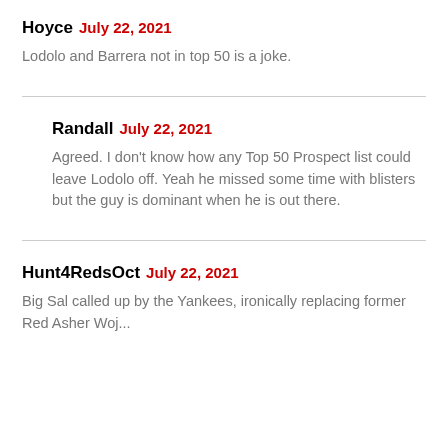Hoyce July 22, 2021
Lodolo and Barrera not in top 50 is a joke.
Randall July 22, 2021
Agreed. I don't know how any Top 50 Prospect list could leave Lodolo off. Yeah he missed some time with blisters but the guy is dominant when he is out there.
Hunt4RedsOct July 22, 2021
Big Sal called up by the Yankees, ironically replacing former Red Asher Woj...